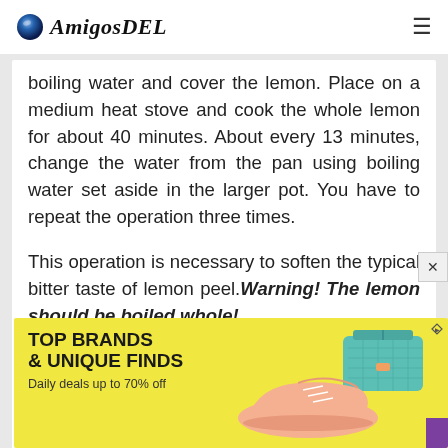AmigosDEL
boiling water and cover the lemon. Place on a medium heat stove and cook the whole lemon for about 40 minutes. About every 13 minutes, change the water from the pan using boiling water set aside in the larger pot. You have to repeat the operation three times.

This operation is necessary to soften the typical bitter taste of lemon peel.Warning! The lemon should be boiled whole!
[Figure (infographic): Advertisement banner with yellow background showing 'TOP BRANDS & UNIQUE FINDS - Daily deals up to 70% off' with a shoe and bag image on the right side.]